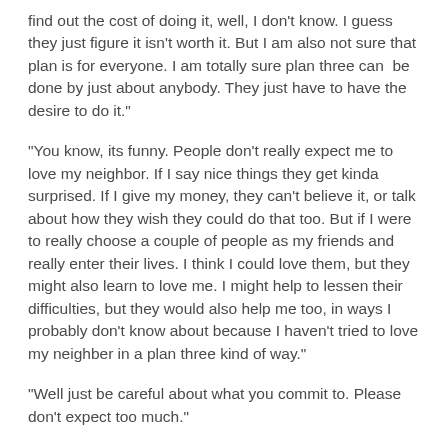find out the cost of doing it, well, I don't know. I guess they just figure it isn't worth it. But I am also not sure that plan is for everyone. I am totally sure plan three can  be done by just about anybody. They just have to have the desire to do it."
"You know, its funny. People don't really expect me to love my neighbor. If I say nice things they get kinda surprised. If I give my money, they can't believe it, or talk about how they wish they could do that too. But if I were to really choose a couple of people as my friends and really enter their lives. I think I could love them, but they might also learn to love me. I might help to lessen their difficulties, but they would also help me too, in ways I probably don't know about because I haven't tried to love my neighber in a plan three kind of way."
"Well just be careful about what you commit to. Please don't expect too much."
"Huh? Now you kinda sound like my pastor."